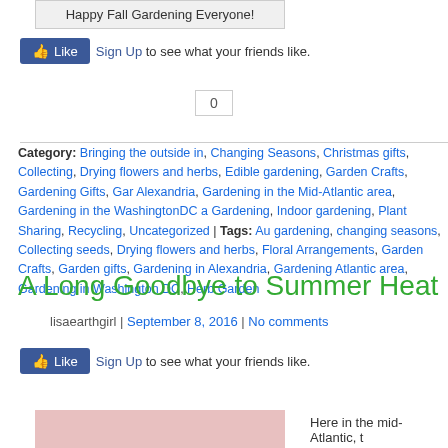Happy Fall Gardening Everyone!
Like  Sign Up to see what your friends like.
0
Category: Bringing the outside in, Changing Seasons, Christmas gifts, Collecting, Drying flowers and herbs, Edible gardening, Garden Crafts, Gardening Gifts, Gardening in Alexandria, Gardening in the Mid-Atlantic area, Gardening in the WashingtonDC area, Indoor Gardening, Indoor gardening, Plant Sharing, Recycling, Uncategorized | Tags: Autumn gardening, changing seasons, Collecting seeds, Drying flowers and herbs, Floral Arrangements, Garden Crafts, Garden gifts, Gardening in Alexandria, Gardening in the Mid-Atlantic area, Gardening in Washington DC, Herb Garden
A Long Goodbye to Summer Heat
lisaearthgirl | September 8, 2016 | No comments
Like  Sign Up to see what your friends like.
Here in the mid-Atlantic, t